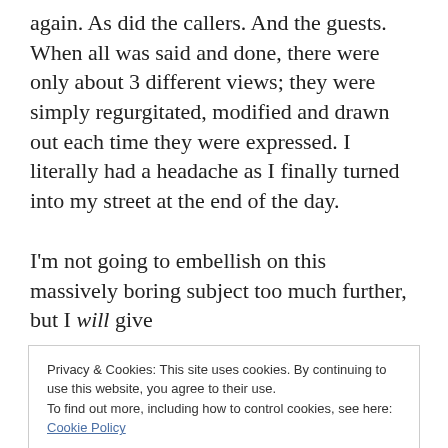again. As did the callers. And the guests. When all was said and done, there were only about 3 different views; they were simply regurgitated, modified and drawn out each time they were expressed. I literally had a headache as I finally turned into my street at the end of the day.
I'm not going to embellish on this massively boring subject too much further, but I will give
Privacy & Cookies: This site uses cookies. By continuing to use this website, you agree to their use.
To find out more, including how to control cookies, see here:
Cookie Policy
Close and accept